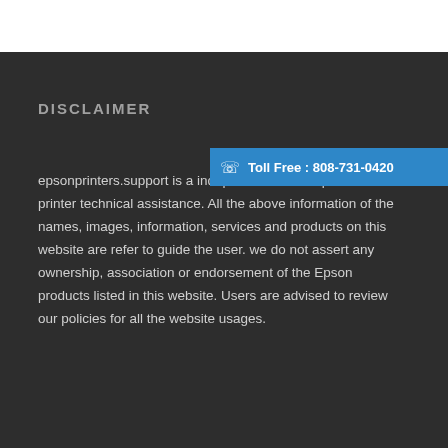DISCLAIMER
[Figure (infographic): Blue banner bar with phone icon and text: Toll Free : 808-731-0420]
epsonprinters.support is a independent service provider for printer technical assistance. All the above information of the names, images, information, services and products on this website are refer to guide the user. we do not assert any ownership, association or endorsement of the Epson products listed in this website. Users are advised to review our policies for all the website usages.